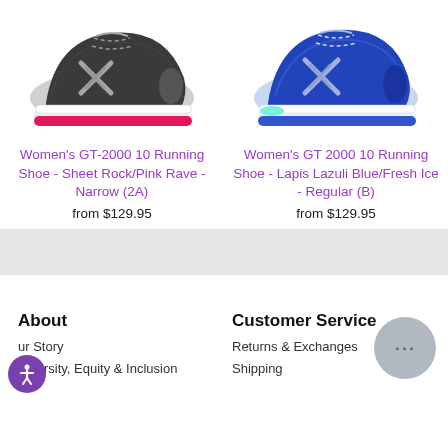[Figure (photo): Gray and pink ASICS GT-2000 10 running shoe, left side view]
[Figure (photo): Blue ASICS GT 2000 10 running shoe, right side view]
Women's GT-2000 10 Running Shoe - Sheet Rock/Pink Rave - Narrow (2A)
from $129.95
Women's GT 2000 10 Running Shoe - Lapis Lazuli Blue/Fresh Ice - Regular (B)
from $129.95
About
Our Story
Diversity, Equity & Inclusion
Customer Service
Returns & Exchanges
Shipping